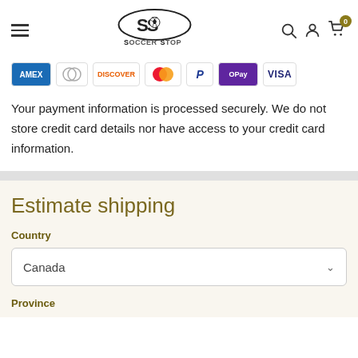Soccer Stop — navigation header with logo, menu, search, account, and cart icons
[Figure (logo): Soccer Stop logo — SS with soccer ball inside oval, text SOCCER STOP below]
[Figure (infographic): Payment method icons: Amex, Diners Club, Discover, Mastercard, PayPal, GPay (OPay), Visa]
Your payment information is processed securely. We do not store credit card details nor have access to your credit card information.
Estimate shipping
Country
Canada
Province